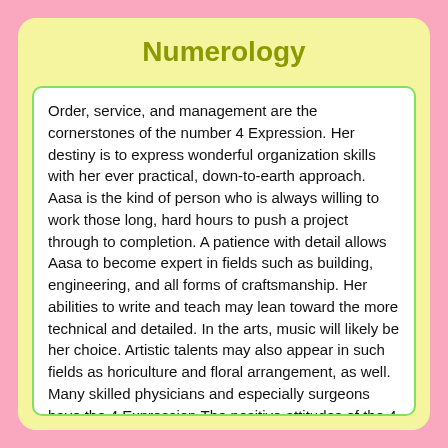Numerology
Order, service, and management are the cornerstones of the number 4 Expression. Her destiny is to express wonderful organization skills with her ever practical, down-to-earth approach. Aasa is the kind of person who is always willing to work those long, hard hours to push a project through to completion. A patience with detail allows Aasa to become expert in fields such as building, engineering, and all forms of craftsmanship. Her abilities to write and teach may lean toward the more technical and detailed. In the arts, music will likely be her choice. Artistic talents may also appear in such fields as horiculture and floral arrangement, as well. Many skilled physicians and especially surgeons have the 4 Expression.The positive attitudes of the 4 Expression yield responsibility; Aasa is one who no doubt, fulfills obligations, and is highly systematic and orderly. Aasa is serious and sincere, honest and faithful. It is her role to help and Aasa is required to do a good job at everything Aasa undertakes.
Friendly, outgoing and always very social. Aasa has a decidedly upbeat attitude that is rarely